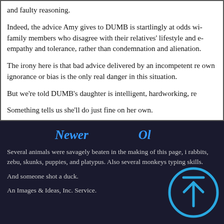and faulty reasoning.
Indeed, the advice Amy gives to DUMB is startlingly at odds with family members who disagree with their relatives' lifestyle and empathy and tolerance, rather than condemnation and alienation.
The irony here is that bad advice delivered by an incompetent reader whose own ignorance or bias is the only real danger in this situation.
But we're told DUMB's daughter is intelligent, hardworking, re…
Something tells us she'll do just fine on her own.
Newer
Ol…
Several animals were savagely beaten in the making of this page, including rabbits, zebu, skunks, puppies, and platypus. Also several monkeys for their typing skills.

And someone shot a duck.

An Images & Ideas, Inc. Service.
[Figure (illustration): Blue circle with upward arrow icon (scroll to top button)]